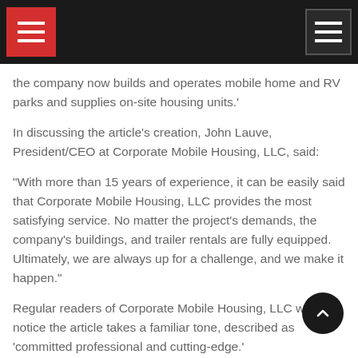Navigation header with menu icons
the company now builds and operates mobile home and RV parks and supplies on-site housing units.'
In discussing the article's creation, John Lauve, President/CEO at Corporate Mobile Housing, LLC, said:
“With more than 15 years of experience, it can be easily said that Corporate Mobile Housing, LLC provides the most satisfying service. No matter the project’s demands, the company’s buildings, and trailer rentals are fully equipped. Ultimately, we are always up for a challenge, and we make it happen.”
Regular readers of Corporate Mobile Housing, LLC will notice the article takes a familiar tone, described as ‘committed professional and cutting-edge.’